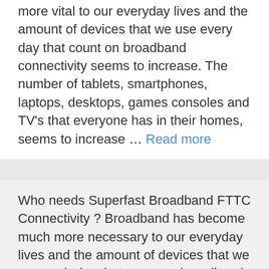more vital to our everyday lives and the amount of devices that we use every day that count on broadband connectivity seems to increase. The number of tablets, smartphones, laptops, desktops, games consoles and TV's that everyone has in their homes, seems to increase … Read more
Who needs Superfast Broadband FTTC Connectivity ? Broadband has become much more necessary to our everyday lives and the amount of devices that we use each day that count on broadband connectivity seems to increase. The number of tablets,